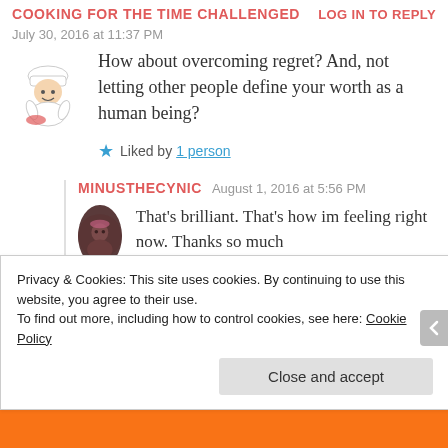COOKING FOR THE TIME CHALLENGED
July 30, 2016 at 11:37 PM
LOG IN TO REPLY
How about overcoming regret? And, not letting other people define your worth as a human being?
Liked by 1 person
MINUSTHECYNIC
August 1, 2016 at 5:56 PM
That’s brilliant. That’s how im feeling right now. Thanks so much
Privacy & Cookies: This site uses cookies. By continuing to use this website, you agree to their use.
To find out more, including how to control cookies, see here: Cookie Policy
Close and accept